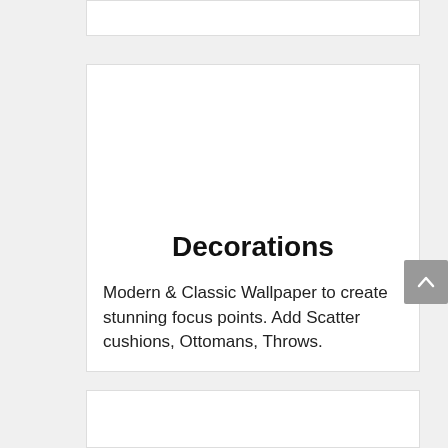[Figure (other): Partial white card visible at top of page, cut off]
Decorations
Modern & Classic Wallpaper to create stunning focus points. Add Scatter cushions, Ottomans, Throws.
[Figure (other): Partial white card visible at bottom of page, cut off]